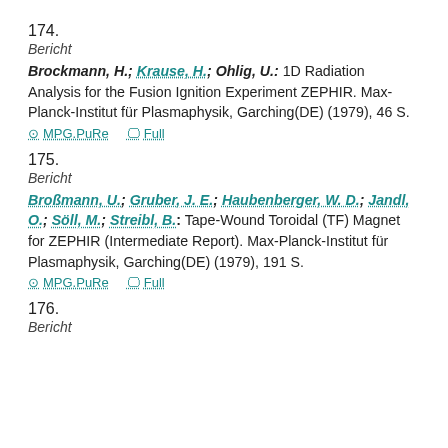174.
Bericht
Brockmann, H.; Krause, H.; Ohlig, U.: 1D Radiation Analysis for the Fusion Ignition Experiment ZEPHIR. Max-Planck-Institut für Plasmaphysik, Garching(DE) (1979), 46 S.
MPG.PuRe   Full
175.
Bericht
Broßmann, U.; Gruber, J. E.; Haubenberger, W. D.; Jandl, O.; Söll, M.; Streibl, B.: Tape-Wound Toroidal (TF) Magnet for ZEPHIR (Intermediate Report). Max-Planck-Institut für Plasmaphysik, Garching(DE) (1979), 191 S.
MPG.PuRe   Full
176.
Bericht